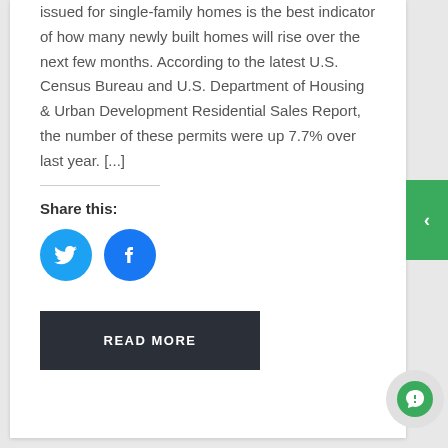issued for single-family homes is the best indicator of how many newly built homes will rise over the next few months. According to the latest U.S. Census Bureau and U.S. Department of Housing & Urban Development Residential Sales Report, the number of these permits were up 7.7% over last year. [...]
Share this:
[Figure (illustration): Twitter and Facebook social sharing icon buttons (circular blue icons)]
READ MORE